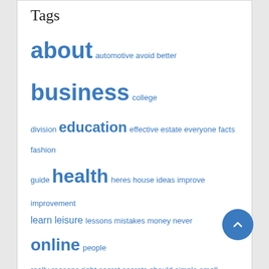Tags
about automotive avoid better business college division education effective estate everyone facts fashion guide health heres house ideas improve improvement learn leisure lessons mistakes money never online people really reasons right secret secrets should simple small start steps strategy teach technology these things think travel
About Us
– Sitemap
– Disclosure Policy
– Advertise Here